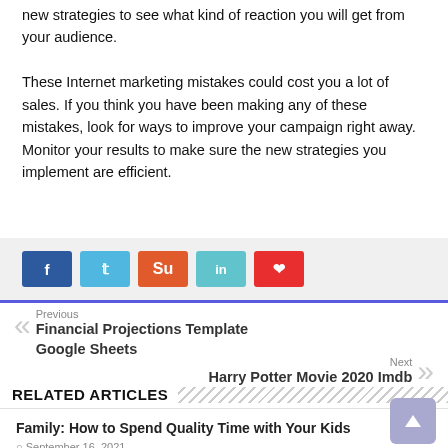new strategies to see what kind of reaction you will get from your audience.
These Internet marketing mistakes could cost you a lot of sales. If you think you have been making any of these mistakes, look for ways to improve your campaign right away. Monitor your results to make sure the new strategies you implement are efficient.
[Figure (other): Row of social share buttons: Facebook (blue), Twitter (light blue), StumbleUpon (orange), LinkedIn (teal), Pinterest (red)]
Previous
Financial Projections Template Google Sheets
Next
Harry Potter Movie 2020 Imdb
RELATED ARTICLES
Family: How to Spend Quality Time with Your Kids
September 16, 2021